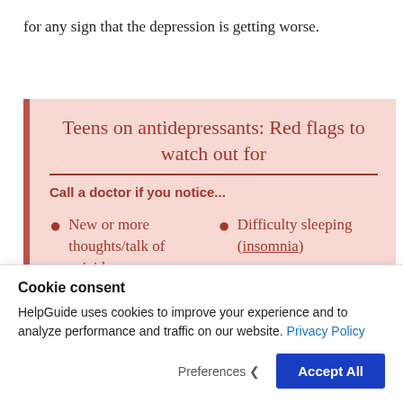for any sign that the depression is getting worse.
[Figure (infographic): Infographic box with pink background and dark red left border. Title: 'Teens on antidepressants: Red flags to watch out for'. Subtitle: 'Call a doctor if you notice...'. Two bullet points: 'New or more thoughts/talk of suicide' and 'Difficulty sleeping (insomnia)'.]
Cookie consent
HelpGuide uses cookies to improve your experience and to analyze performance and traffic on our website. Privacy Policy
Preferences   Accept All